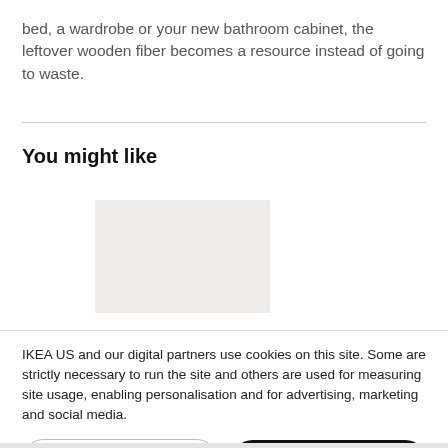bed, a wardrobe or your new bathroom cabinet, the leftover wooden fiber becomes a resource instead of going to waste.
You might like
[Figure (other): Light gray placeholder image box]
IKEA US and our digital partners use cookies on this site. Some are strictly necessary to run the site and others are used for measuring site usage, enabling personalisation and for advertising, marketing and social media.
Cookie settings  Ok